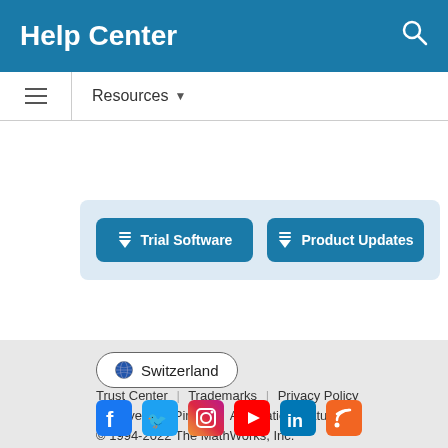Help Center
Resources ▼
[Figure (screenshot): Trial Software and Product Updates download buttons in a light blue container]
🌐 Switzerland
Trust Center | Trademarks | Privacy Policy | Preventing Piracy | Application Status
© 1994-2022 The MathWorks, Inc.
[Figure (infographic): Social media icons row: Facebook, Twitter, Instagram, YouTube, LinkedIn, RSS]